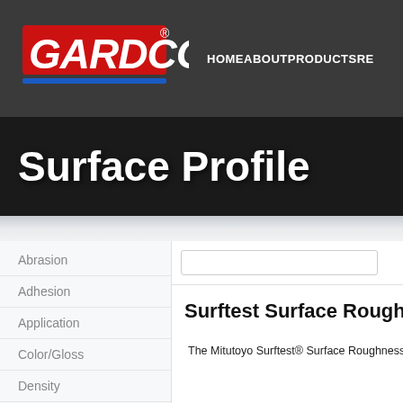[Figure (logo): GARDCO logo in red with blue underline stripe on dark grey background]
HOMEABOUTPRODUCTSRE
Surface Profile
Abrasion
Adhesion
Application
Color/Gloss
Density
Dispersion
Drum Handling
Drying Time/Gelation
Film Flaws
Surftest Surface Roughne
The Mitutoyo Surftest® Surface Roughness Te